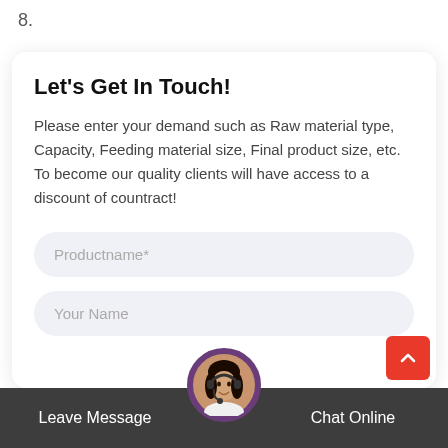8.
Let's Get In Touch!
Please enter your demand such as Raw material type, Capacity, Feeding material size, Final product size, etc. To become our quality clients will have access to a discount of countract!
Productname*
Your Name
Leave Message   Chat Online